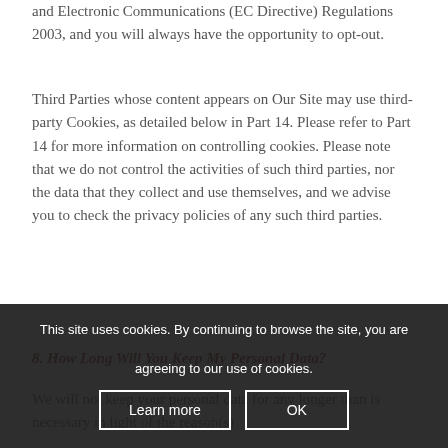and Electronic Communications (EC Directive) Regulations 2003, and you will always have the opportunity to opt-out.
Third Parties whose content appears on Our Site may use third-party Cookies, as detailed below in Part 14. Please refer to Part 14 for more information on controlling cookies. Please note that we do not control the activities of such third parties, nor the data that they collect and use themselves, and we advise you to check the privacy policies of any such third parties.
8. How Long Will You Keep My Personal Data?
We will not keep your personal data for any longer than is necessary in light of the reason(s)
This site uses cookies. By continuing to browse the site, you are agreeing to our use of cookies.